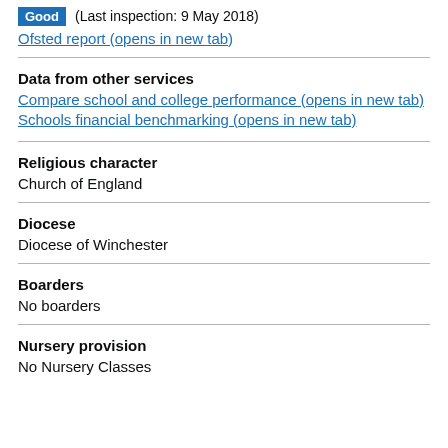Good (Last inspection: 9 May 2018)
Ofsted report (opens in new tab)
Data from other services
Compare school and college performance (opens in new tab)
Schools financial benchmarking (opens in new tab)
Religious character
Church of England
Diocese
Diocese of Winchester
Boarders
No boarders
Nursery provision
No Nursery Classes